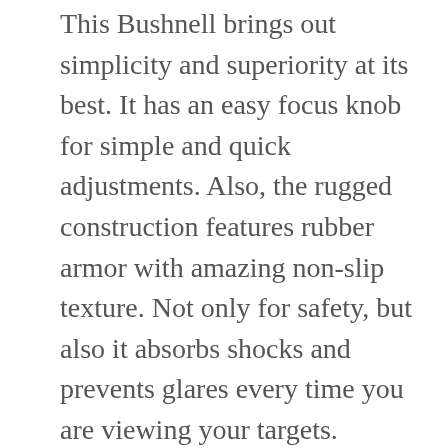This Bushnell brings out simplicity and superiority at its best. It has an easy focus knob for simple and quick adjustments. Also, the rugged construction features rubber armor with amazing non-slip texture. Not only for safety, but also it absorbs shocks and prevents glares every time you are viewing your targets. Trusted by professionals, this device is ideal for hunters to watch birds, game, and other interesting views.

What's more, the functional eyecups to interact easily for additional comfort...